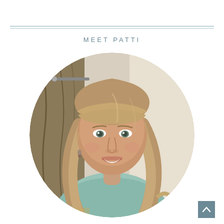MEET PATTI
[Figure (photo): Circular portrait photo of a woman named Patti with blonde hair, bangs, wearing a light teal top, smiling, seated indoors.]